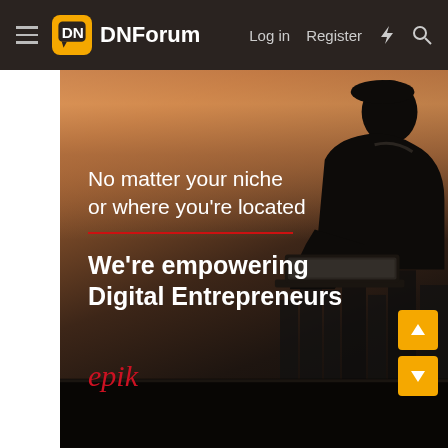DNForum — Log in  Register
[Figure (screenshot): Hero banner advertisement for epik.com on DNForum. A man silhouetted against a cityscape at dusk uses a laptop. Text overlay reads: 'No matter your niche or where you're located' with a red horizontal rule, then 'We're empowering Digital Entrepreneurs'. The epik brand logo appears in red italic text at bottom left.]
No matter your niche or where you're located
We're empowering Digital Entrepreneurs
epik